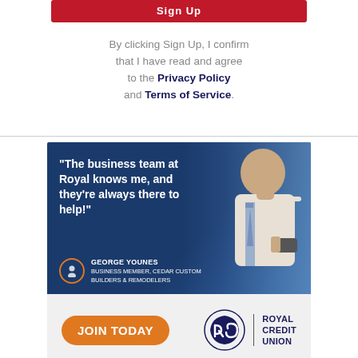[Figure (other): Red Sign Up button bar (partial, cropped at top)]
By clicking Sign Up, I confirm that I have read and agree to the Privacy Policy and Terms of Service.
[Figure (infographic): Royal Credit Union advertisement featuring a quote from George Younes, Business Member, Cedar Custom Builders & Remodelers: 'The business team at Royal knows me, and they're always there to help!' with a JOIN TODAY orange button and the Royal Credit Union logo at the bottom.]